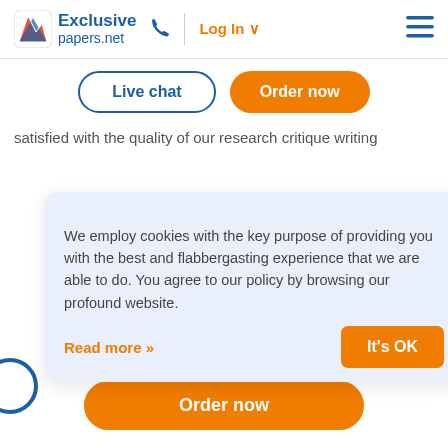[Figure (logo): Exclusive papers.net logo with stylized A icon in blue/red]
Log In
Live chat
Order now
satisfied with the quality of our research critique writing
We employ cookies with the key purpose of providing you with the best and flabbergasting experience that we are able to do. You agree to our policy by browsing our profound website.
Read more »
It's OK
Get 24/7 Free consulting
Toll free USA +1(877)729-9450
Order now